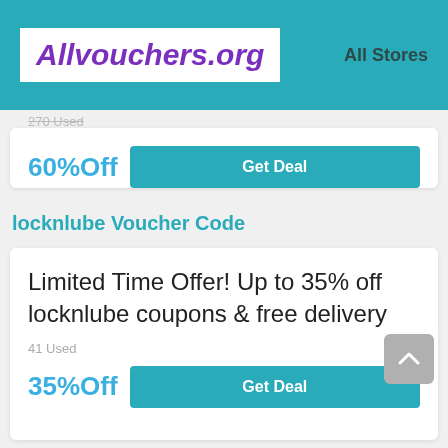[Figure (logo): Allvouchers.org logo in purple italic bold text on white background, inside teal header bar with 'All Stores' text on right]
270 Used
60%Off
Get Deal
locknlube Voucher Code
Limited Time Offer! Up to 35% off locknlube coupons & free delivery
41 Used
35%Off
Get Deal